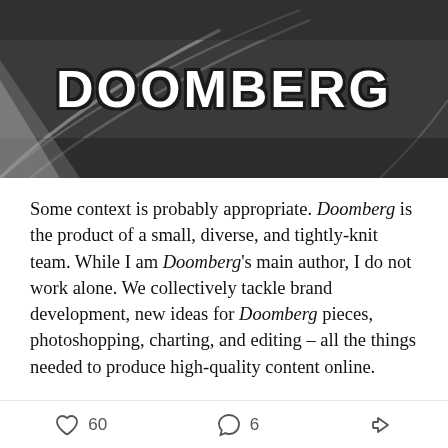[Figure (photo): Dark background image with the word DOOMBERG in large white bold text with dark outline, resembling a car or road scene with white lines visible.]
Some context is probably appropriate. Doomberg is the product of a small, diverse, and tightly-knit team. While I am Doomberg's main author, I do not work alone. We collectively tackle brand development, new ideas for Doomberg pieces, photoshopping, charting, and editing – all the things needed to produce high-quality content online.
In real life, this team runs a bespoke and discreet consulting business. We specialize in simplifying complex problems, climbing learning curves quickly,
60   6